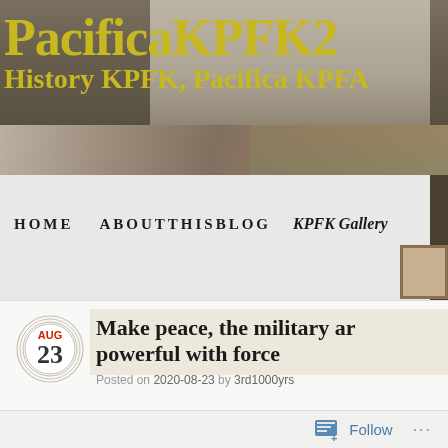PacificaKPFK2
History KPFK, Pacifica KPFA
HOME   ABOUTTHISBLOG   KPFK Gallery
[Figure (screenshot): Blog post entry dated AUG 23 with title 'Make peace, the military ar... powerful with force', posted on 2020-08-23 by 3rd1000yrs]
Make peace, the military ar... powerful with force
Posted on 2020-08-23 by 3rd1000yrs
Follow ...